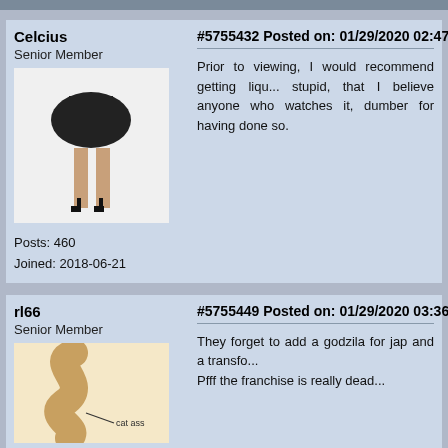Celcius
Senior Member
[Figure (photo): Avatar image showing a person wearing a black skirt and heels, only legs visible]
Posts: 460
Joined: 2018-06-21
#5755432 Posted on: 01/29/2020 02:47 PM
Prior to viewing, I would recommend getting liq... stupid, that I believe anyone who watches it, dumber for having done so.
rl66
Senior Member
[Figure (illustration): Cartoon illustration of a curved S-shape figure with text 'cat ass' and an arrow]
#5755449 Posted on: 01/29/2020 03:36 PM
They forget to add a godzila for jap and a transf... Pfff the franchise is really dead...